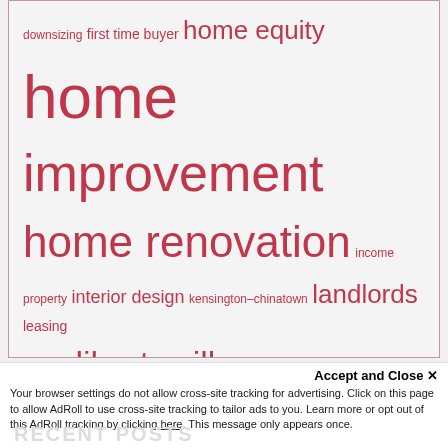[Figure (infographic): Tag cloud with real estate related keywords in varying font sizes, all in red/pink color on light gray background within a bordered box. Topics include: downsizing, first time buyer, home equity, home improvement, home renovation, income property, interior design, kensington-chinatown, landlords, leasing, leslieville, liberty village, little italy, lofts, london, mimico, mortgage, moving, new listing, ottawa, peterborough, pre-construction, queen west, real estate investing, real estate market update, real estate news, renting, renting a condo, riverdale, school districts, selling a condo, selling a home, staging, stratford, the annex, the danforth, the junction, toronto]
Accept and Close ✕
Your browser settings do not allow cross-site tracking for advertising. Click on this page to allow AdRoll to use cross-site tracking to tailor ads to you. Learn more or opt out of this AdRoll tracking by clicking here. This message only appears once.